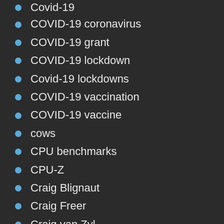Covid-19
COVID-19 coronavirus
COVID-19 grant
COVID-19 lockdown
Covid-19 lockdowns
COVID-19 vaccination
COVID-19 vaccine
cows
CPU benchmarks
CPU-Z
Craig Blignaut
Craig Freer
Craig van Zyl
crashes
craters